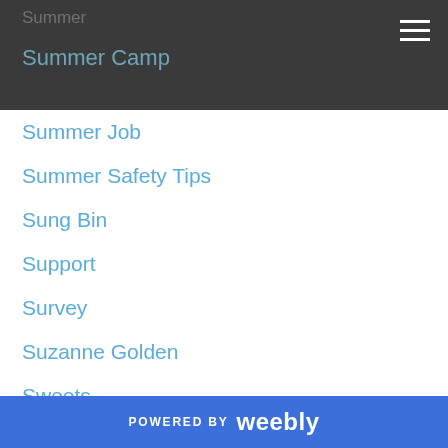Summer / Summer Camp
Summer Job
Summer Safety Tips
Sung Bin
Support
Survey
Suzanne Golden
Sweets
Tantrums
Tara
Tasty Tuesday
Tax
Tax Credit
Teacher
Tech
Technology
POWERED BY weebly